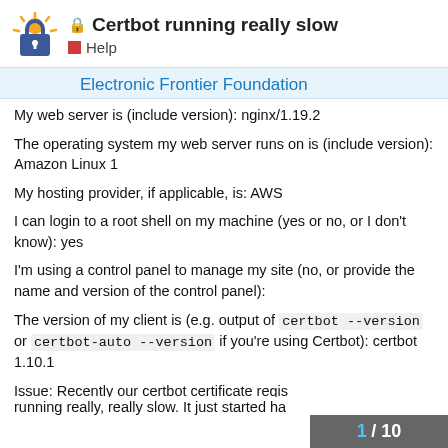🔒 Certbot running really slow — Help
Electronic Frontier Foundation
My web server is (include version): nginx/1.19.2
The operating system my web server runs on is (include version): Amazon Linux 1
My hosting provider, if applicable, is: AWS
I can login to a root shell on my machine (yes or no, or I don't know): yes
I'm using a control panel to manage my site (no, or provide the name and version of the control panel):
The version of my client is (e.g. output of certbot --version or certbot-auto --version if you're using Certbot): certbot 1.10.1
Issue: Recently our certbot certificate regis… running really, really slow. It just started ha…
1 / 10